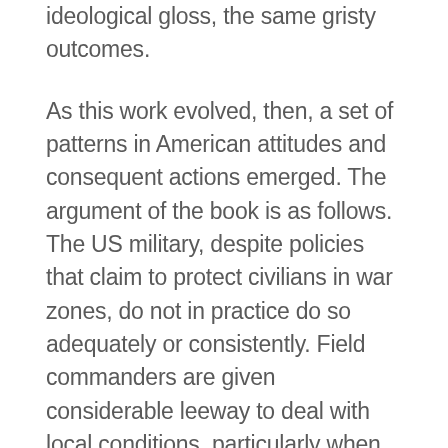ideological gloss, the same gristy outcomes.
As this work evolved, then, a set of patterns in American attitudes and consequent actions emerged. The argument of the book is as follows. The US military, despite policies that claim to protect civilians in war zones, do not in practice do so adequately or consistently. Field commanders are given considerable leeway to deal with local conditions, particularly when US troops are possibly vulnerable to attack. In Korea, initially deployed troops were poorly trained, operated in an intense "fog of war," and believed they had an acute problem of discriminating civilians from North Korean infiltrators. There were then also problems of North th...